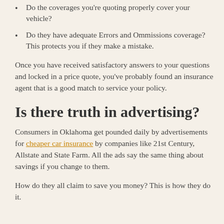Do the coverages you're quoting properly cover your vehicle?
Do they have adequate Errors and Ommissions coverage? This protects you if they make a mistake.
Once you have received satisfactory answers to your questions and locked in a price quote, you've probably found an insurance agent that is a good match to service your policy.
Is there truth in advertising?
Consumers in Oklahoma get pounded daily by advertisements for cheaper car insurance by companies like 21st Century, Allstate and State Farm. All the ads say the same thing about savings if you change to them.
How do they all claim to save you money? This is how they do it.